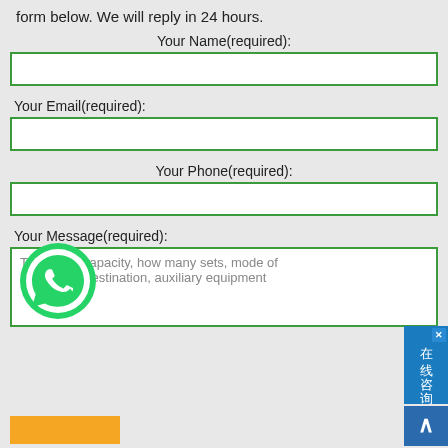form below. We will reply in 24 hours.
Your Name(required):
Your Email(required):
Your Phone(required):
Your Message(required):
Tips: type, capacity, how many sets, mode of transportation, destination, auxiliary equipment
[Figure (illustration): WhatsApp green circle logo icon overlaid on the message textarea]
[Figure (infographic): Blue vertical sidebar with Chinese text '在线咨询' (online consultation) and an X close button, plus a blue scroll-up arrow button below]